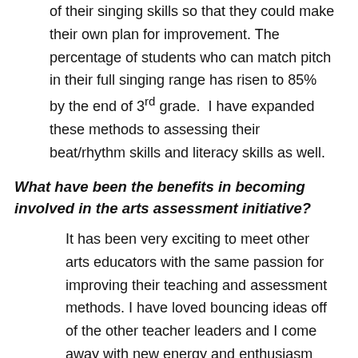of their singing skills so that they could make their own plan for improvement. The percentage of students who can match pitch in their full singing range has risen to 85% by the end of 3rd grade.  I have expanded these methods to assessing their beat/rhythm skills and literacy skills as well.
What have been the benefits in becoming involved in the arts assessment initiative?
It has been very exciting to meet other arts educators with the same passion for improving their teaching and assessment methods. I have loved bouncing ideas off of the other teacher leaders and I come away with new energy and enthusiasm every time we meet.
What are you most proud of in your career?
I was the most proud of how motivated...